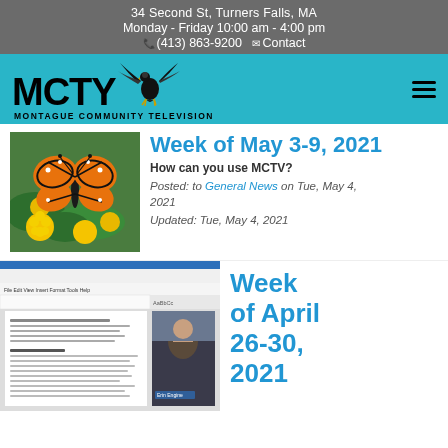34 Second St, Turners Falls, MA
Monday - Friday 10:00 am - 4:00 pm
☎ (413) 863-9200  ✉ Contact
[Figure (logo): MCTV Montague Community Television logo with eagle on teal navigation bar]
[Figure (photo): Monarch butterfly on yellow flowers]
Week of May 3-9, 2021
How can you use MCTV?
Posted: to General News on Tue, May 4, 2021
Updated: Tue, May 4, 2021
[Figure (screenshot): Screenshot of a document/word processor with a person in video call on the right side]
Week of April 26-30, 2021